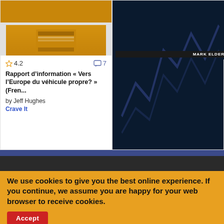[Figure (screenshot): Book card for 'Rapport d information Vers l Europe du vehicule propre (Fren...' by Jeff Hughes with rating 4.2 and 7 comments, Crave It link]
4.2
7
Rapport d’information « Vers l’Europe du véhicule propre? » (Fren...
by Jeff Hughes
Crave It
[Figure (screenshot): Book card for 'Swing Trading: A Comprehensive Guide of the Best-Proven Strategie...' by Mark Elder with rating 3.5 and 27 comments, Crave It link]
3.5
27
Swing Trading: A Comprehensive Guide of the Best-Proven Strategie...
by Mark Elder
Crave It
We use cookies to give you the best online experience. If you continue, we assume you are happy for your web browser to receive cookies.
Accept